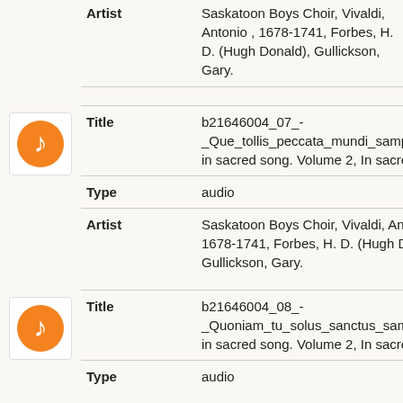Artist: Saskatoon Boys Choir, Vivaldi, Antonio , 1678-1741, Forbes, H. D. (Hugh Donald), Gullickson, Gary.
[Figure (illustration): Orange music note icon in a white box with border]
Title: b21646004_07_-_Que_tollis_peccata_mundi_sample.mp3: in sacred song. Volume 2, In sacred song
Type: audio
Artist: Saskatoon Boys Choir, Vivaldi, Antonio , 1678-1741, Forbes, H. D. (Hugh Donald), Gullickson, Gary.
[Figure (illustration): Orange music note icon in a white box with border]
Title: b21646004_08_-_Quoniam_tu_solus_sanctus_sample.mp3: in sacred song. Volume 2, In sacred song
Type: audio